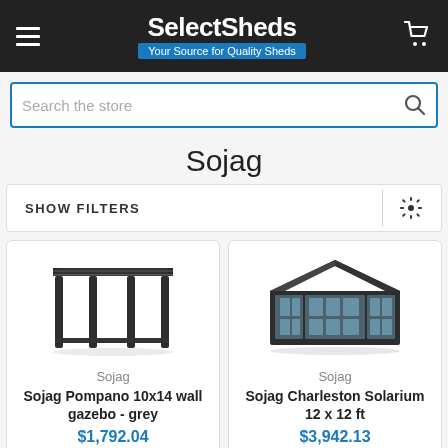SelectSheds — Your Source for Quality Sheds
Search the store
Sojag
SHOW FILTERS
[Figure (illustration): Sojag Pompano 10x14 wall gazebo in grey — dark metal frame pergola structure with flat roof]
Sojag
Sojag Pompano 10x14 wall gazebo - grey
$1,792.04
[Figure (illustration): Sojag Charleston Solarium 12x12 ft — dark hexagonal enclosed gazebo with glass panels and peaked roof]
Sojag
Sojag Charleston Solarium 12 x 12 ft
$3,942.13